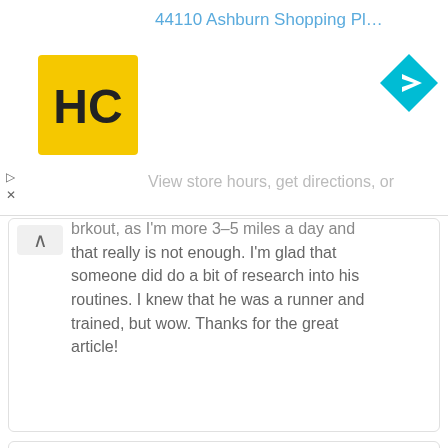44110 Ashburn Shopping Plaza 190, A...
[Figure (logo): HC logo - yellow square with stylized HC letters in black]
[Figure (other): Blue diamond navigation/directions icon with white right-arrow]
View store hours, get directions, or
brkout, as I'm more 3-5 miles a day and that really is not enough. I'm glad that someone did do a bit of research into his routines. I knew that he was a runner and trained, but wow. Thanks for the great article!
Laurie Smith
April 3, 2016 at 2:50 am
Excellent article ! So good to see a Master at work. Thanks for research & for